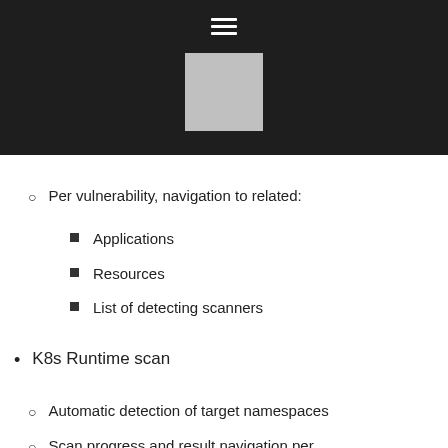[Figure (other): Dark header bar with hamburger menu icon and grey square logo placeholder]
Per vulnerability, navigation to related:
Applications
Resources
List of detecting scanners
K8s Runtime scan
Automatic detection of target namespaces
Scan progress and result navigation per